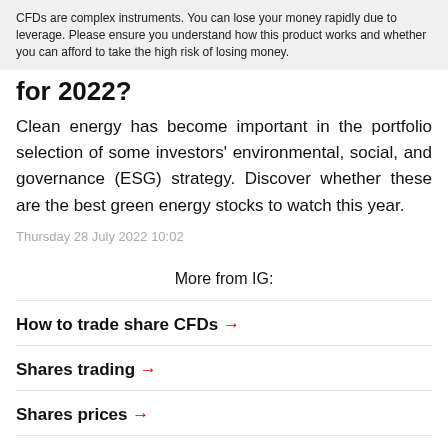CFDs are complex instruments. You can lose your money rapidly due to leverage. Please ensure you understand how this product works and whether you can afford to take the high risk of losing money.
for 2022?
Clean energy has become important in the portfolio selection of some investors' environmental, social, and governance (ESG) strategy. Discover whether these are the best green energy stocks to watch this year.
Thursday 28 July 2022 10:02
More from IG:
How to trade share CFDs →
Shares trading →
Shares prices →